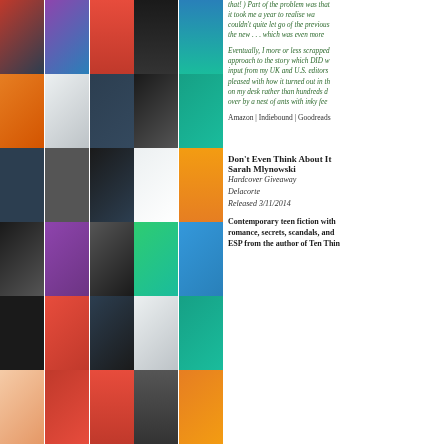[Figure (illustration): Grid of colorful book covers arranged in rows and columns, approximately 30 covers visible]
that! ) Part of the problem was that it took me a year to realise was couldn't quite let go of the previous the new . . . which was even more
Eventually, I more or less scrapped approach to the story which DID w input from my UK and U.S. editors pleased with how it turned out in th on my desk rather than hundreds d over by a nest of ants with inky fee
Amazon | Indiebound | Goodreads
Don't Even Think About It
Sarah Mlynowski
Hardcover Giveaway
Delacorte
Released 3/11/2014
Contemporary teen fiction with romance, secrets, scandals, and ESP from the author of Ten Thin